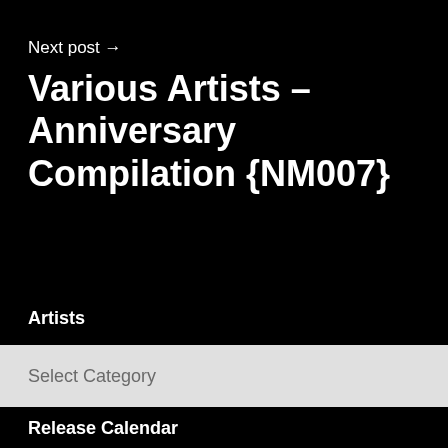Next post →
Various Artists – Anniversary Compilation {NM007}
Artists
Select Category
Release Calendar